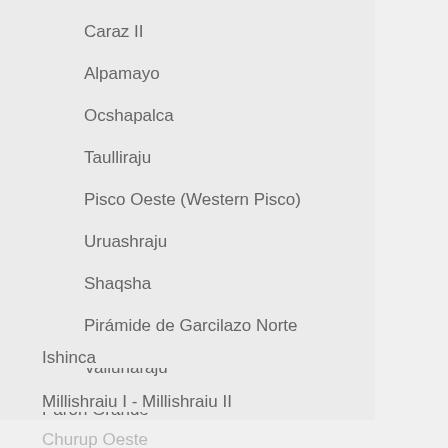Caraz II
Alpamayo
Ocshapalca
Taulliraju
Pisco Oeste (Western Pisco)
Uruashraju
Shaqsha
Pirámide de Garcilazo Norte
Vallunaraju
Paron Grande
Ishinca
Millishraiu I - Millishraiu II
Churup Oeste
Yanapackhu